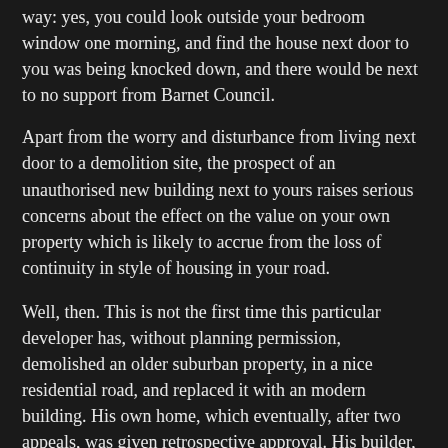way: yes, you could look outside your bedroom window one morning, and find the house next door to you was being knocked down, and there would be next to no support from Barnet Council.
Apart from the worry and disturbance from living next door to a demolition site, the prospect of an unauthorised new building next to yours raises serious concerns about the effect on the value on your own property which is likely to accrue from the loss of continuity in style of housing in your road.
Well, then. This is not the first time this particular developer has, without planning permission, demolished an older suburban property, in a nice residential road, and replaced it with an modern building. His own home, which eventually, after two appeals, was given retrospective approval. His builder, unfortunately, as previously reported, has a history of Health & Safety breaches, including work on gas appliances for which he was not qualified.
Oh, and - this particular developer ... is connected with another series of posts in this blog: the story of Victoria Park Lodge.
The Lodge is a lovely Edwardian house, arts and crafts style